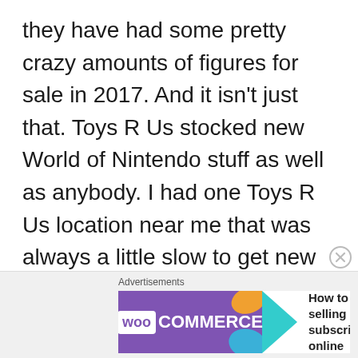they have had some pretty crazy amounts of figures for sale in 2017.  And it isn't just that.  Toys R Us stocked new World of Nintendo stuff as well as anybody.  I had one Toys R Us location near me that was always a little slow to get new stuff and you could often find older releases there (which is an advantage in its own right) but the most popular Toys R Us location in the town in Ohio where I live always had stuff first and always had the best selection of any store I visited.
[Figure (other): WooCommerce advertisement banner with purple logo, teal arrow, and text 'How to start selling subscriptions online']